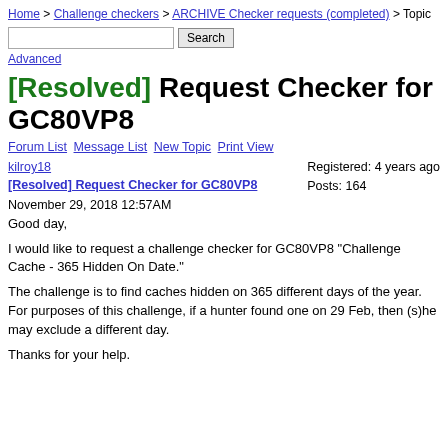Home > Challenge checkers > ARCHIVE Checker requests (completed) > Topic
Search | Advanced
[Resolved] Request Checker for GC80VP8
Forum List  Message List  New Topic  Print View
kilroy18
[Resolved] Request Checker for GC80VP8
November 29, 2018 12:57AM
Registered: 4 years ago
Posts: 164
Good day,

I would like to request a challenge checker for GC80VP8 "Challenge Cache - 365 Hidden On Date."

The challenge is to find caches hidden on 365 different days of the year. For purposes of this challenge, if a hunter found one on 29 Feb, then (s)he may exclude a different day.

Thanks for your help.